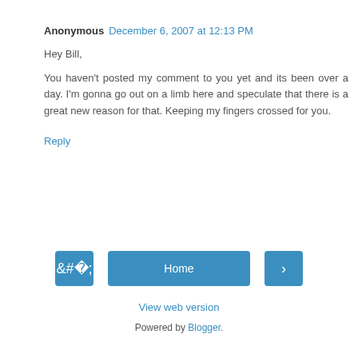Anonymous December 6, 2007 at 12:13 PM
Hey Bill,

You haven't posted my comment to you yet and its been over a day. I'm gonna go out on a limb here and speculate that there is a great new reason for that. Keeping my fingers crossed for you.
Reply
Home
View web version
Powered by Blogger.